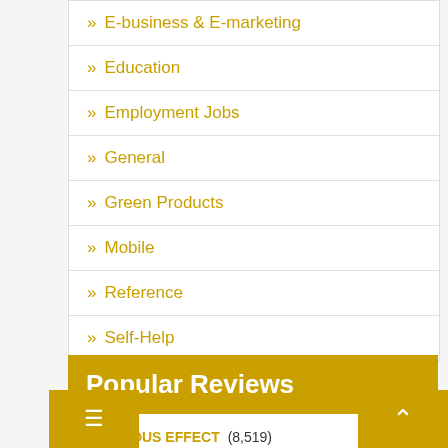» E-business & E-marketing
» Education
» Employment Jobs
» General
» Green Products
» Mobile
» Reference
» Self-Help
Popular Reviews
EXODUS EFFECT (8,519)